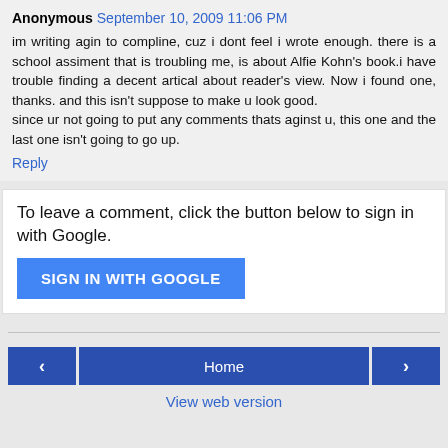Anonymous September 10, 2009 11:06 PM
im writing agin to compline, cuz i dont feel i wrote enough. there is a school assiment that is troubling me, is about Alfie Kohn's book.i have trouble finding a decent artical about reader's view. Now i found one, thanks. and this isn't suppose to make u look good.
since ur not going to put any comments thats aginst u, this one and the last one isn't going to go up.
Reply
To leave a comment, click the button below to sign in with Google.
SIGN IN WITH GOOGLE
‹
Home
›
View web version